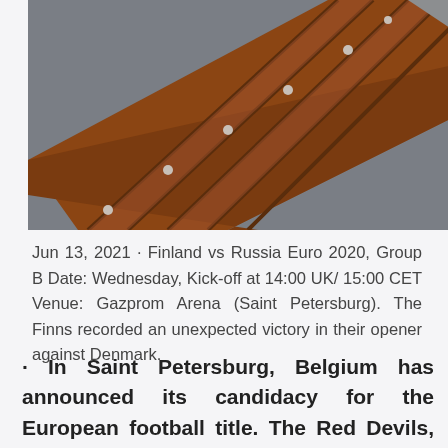[Figure (photo): Architectural photo showing angled wooden roof beams or rafters in reddish-brown color against a grey concrete structure, viewed from below at an angle, with a pale sky visible in the upper right corner.]
Jun 13, 2021 · Finland vs Russia Euro 2020, Group B Date: Wednesday, Kick-off at 14:00 UK/ 15:00 CET Venue: Gazprom Arena (Saint Petersburg). The Finns recorded an unexpected victory in their opener against Denmark.
· In Saint Petersburg, Belgium has announced its candidacy for the European football title. The Red Devils, the number 1 in the FIFA world ranking, beat home